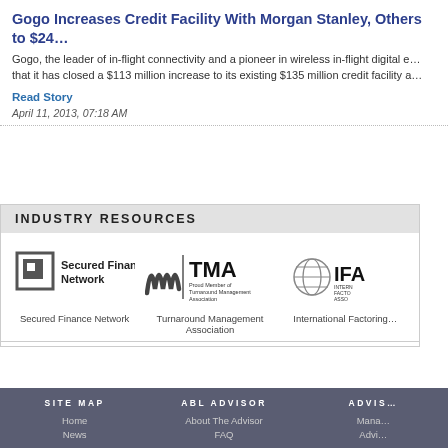Gogo Increases Credit Facility With Morgan Stanley, Others to $24...
Gogo, the leader of in-flight connectivity and a pioneer in wireless in-flight digital e... that it has closed a $113 million increase to its existing $135 million credit facility a...
Read Story
April 11, 2013, 07:18 AM
INDUSTRY RESOURCES
[Figure (logo): Secured Finance Network logo - square bracket icon with text]
[Figure (logo): TMA - Proud Member of Turnaround Management Association logo]
[Figure (logo): IFA - International Factoring Association logo (partial)]
Secured Finance Network
Turnaround Management Association
International Factoring...
SITE MAP | ABL ADVISOR | ADVIS... | Home | News | About The Advisor | FAQ | Mana... | Advi...